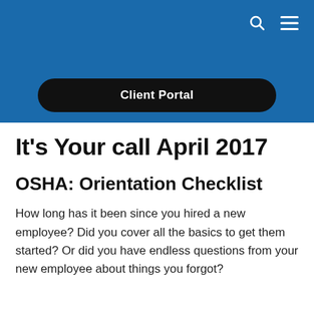Client Portal
It’s Your call April 2017
OSHA: Orientation Checklist
How long has it been since you hired a new employee? Did you cover all the basics to get them started? Or did you have endless questions from your new employee about things you forgot?